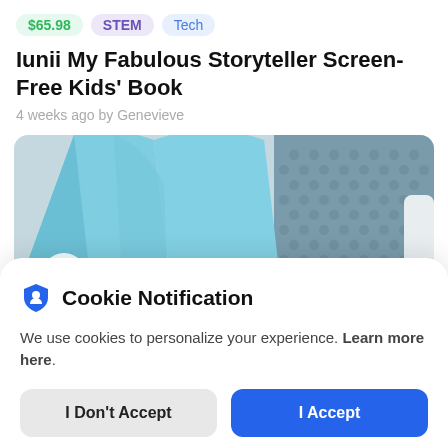$65.98  STEM  Tech
Iunii My Fabulous Storyteller Screen-Free Kids' Book
4 weeks ago by Genevieve
[Figure (photo): Child wearing light blue t-shirt, partial view of torso, with a shopping cart icon bubble overlay in lower left corner]
Cookie Notification
We use cookies to personalize your experience. Learn more here.
I Don't Accept
I Accept